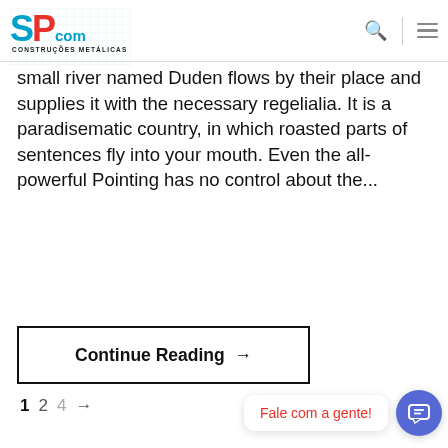SP COM CONSTRUÇÕES METÁLICAS
small river named Duden flows by their place and supplies it with the necessary regelialia. It is a paradisematic country, in which roasted parts of sentences fly into your mouth. Even the all-powerful Pointing has no control about the...
Continue Reading →
1  2  4  →
Fale com a gente!